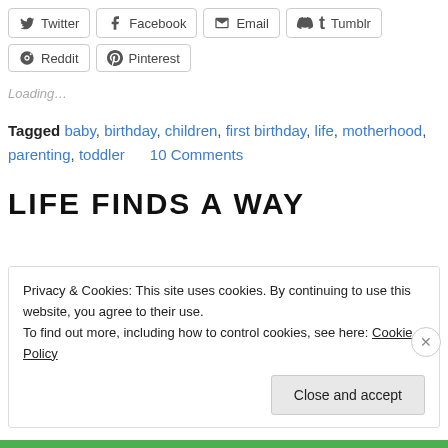Twitter Facebook Email Tumblr Reddit Pinterest
Loading…
Tagged baby, birthday, children, first birthday, life, motherhood, parenting, toddler     10 Comments
LIFE FINDS A WAY
Privacy & Cookies: This site uses cookies. By continuing to use this website, you agree to their use.
To find out more, including how to control cookies, see here: Cookie Policy
Close and accept